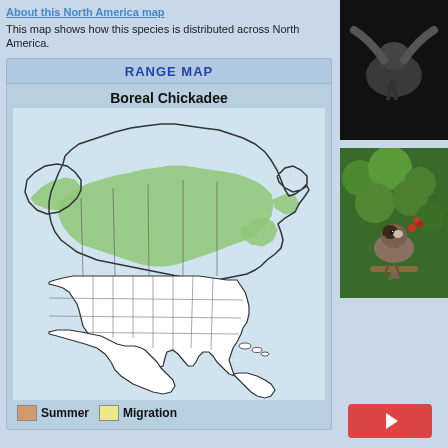About this North America map
This map shows how this species is distributed across North America.
[Figure (map): Range map of Boreal Chickadee across North America, showing green shaded areas across Canada and Alaska indicating the species distribution. Title reads 'Boreal Chickadee'. Legend shows Summer (tan/orange box) and Migration (yellow box).]
[Figure (photo): Photo of a bird (likely Boreal Chickadee) in flight or perched, dark background]
[Figure (photo): Photo of a Boreal Chickadee perched among green conifer branches with red berries]